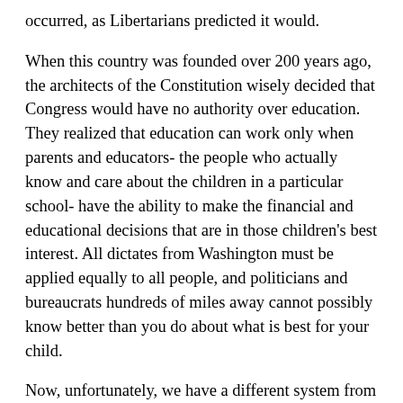occurred, as Libertarians predicted it would.
When this country was founded over 200 years ago, the architects of the Constitution wisely decided that Congress would have no authority over education. They realized that education can work only when parents and educators- the people who actually know and care about the children in a particular school- have the ability to make the financial and educational decisions that are in those children's best interest. All dictates from Washington must be applied equally to all people, and politicians and bureaucrats hundreds of miles away cannot possibly know better than you do about what is best for your child.
Now, unfortunately, we have a different system from the one envisioned by Jefferson and Madison. This new system works like this: You are required to send your tax dollars to Washington. For every two dollars you send, one dollar comes back to your school, along with a